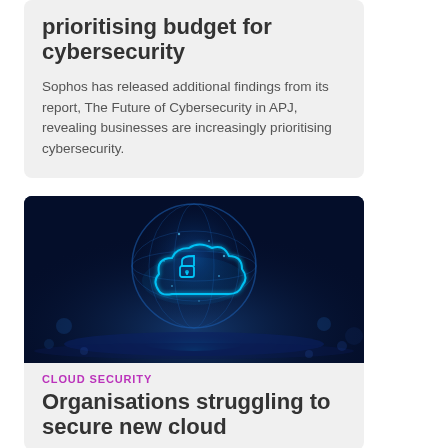prioritising budget for cybersecurity
Sophos has released additional findings from its report, The Future of Cybersecurity in APJ, revealing businesses are increasingly prioritising cybersecurity.
[Figure (photo): Dark blue digital globe with a glowing cloud and padlock icon, with light effects on a water surface — cybersecurity concept image]
CLOUD SECURITY
Organisations struggling to secure new cloud